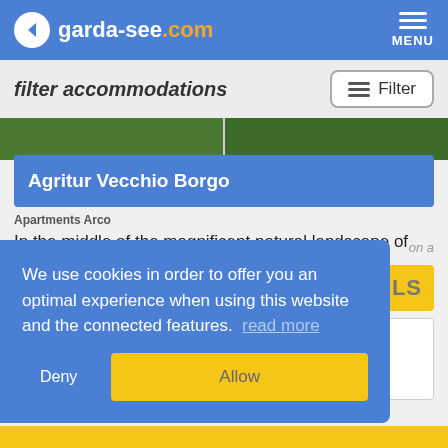garda-see.com | MENU
filter accommodations
[Figure (photo): Green tree/landscape image strip split in two panels]
Agritur Vecchio Borgo
Apartments Arco
In the middle of the magnificent natural landscape of
We use cookies in order to offer you an optimal experience when using this website and the connected features. read more
Deny
Allow